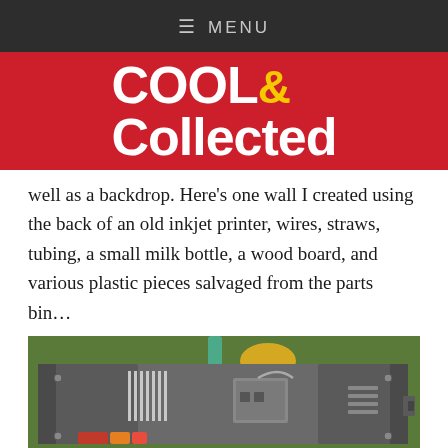≡ MENU
Cool & Collected
well as a backdrop. Here's one wall I created using the back of an old inkjet printer, wires, straws, tubing, a small milk bottle, a wood board, and various plastic pieces salvaged from the parts bin…
[Figure (photo): Photo of the back of an old inkjet printer with wires, straws, tubing, a small milk bottle, a wood board, and various plastic pieces, laid on grass.]